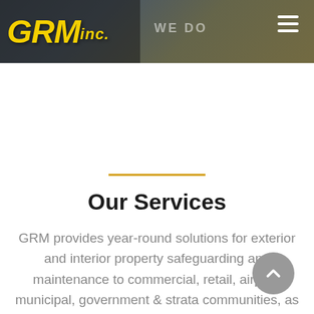GRM inc. WE DO
Our Services
GRM provides year-round solutions for exterior and interior property safeguarding and maintenance to commercial, retail, airport, municipal, government & strata communities, as well as new build development